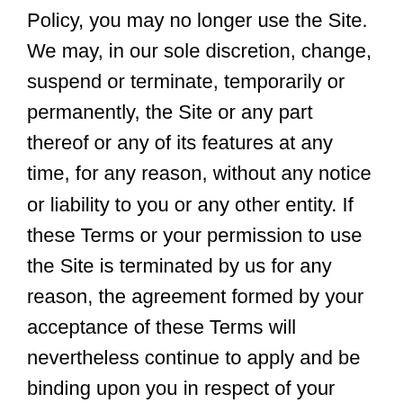Policy, you may no longer use the Site. We may, in our sole discretion, change, suspend or terminate, temporarily or permanently, the Site or any part thereof or any of its features at any time, for any reason, without any notice or liability to you or any other entity. If these Terms or your permission to use the Site is terminated by us for any reason, the agreement formed by your acceptance of these Terms will nevertheless continue to apply and be binding upon you in respect of your prior use of the Site and anything relating to or arising from such use. If you are dissatisfied with the Site or with these Terms or Privacy Policy, then your sole and exclusive remedy is to discontinue using the Site. The bookforvisa Content, Representations, and Limitations of Liability, Indemnity Jurisdiction and Miscellaneous provisions in this agreement shall survive any termination of this agreement.